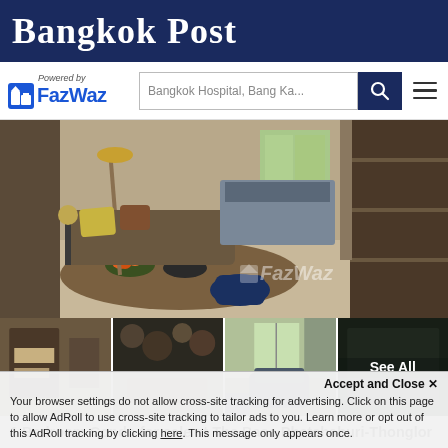Bangkok Post
[Figure (logo): FazWaz logo with 'Powered by' text and search bar with navigation icons]
[Figure (photo): Interior photo of a 1 bedroom condo at The Base Phetchaburi-Thonglor showing living area with dining table, floor lamp, sofa with pillows, and open layout with shelving. FazWaz watermark visible. Three thumbnail photos below and a 'See All' overlay on the fourth thumbnail.]
1 Bedroom Condo for sale at The Base Phetchaburi-Thonglor
The Base Phetchaburi-ThonglorDiscover an upscale condominium, the
Accept and Close ✕
Your browser settings do not allow cross-site tracking for advertising. Click on this page to allow AdRoll to use cross-site tracking to tailor ads to you. Learn more or opt out of this AdRoll tracking by clicking here. This message only appears once.